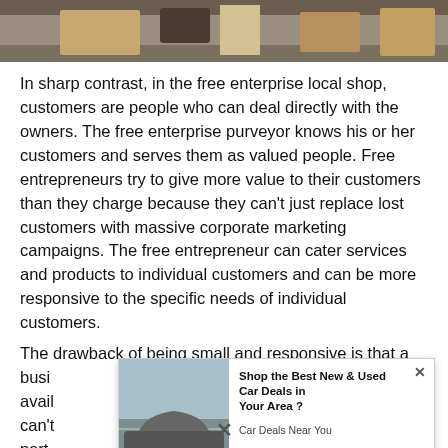[Figure (photo): Photo strip showing a desk/counter scene, partially visible at top of page]
In sharp contrast, in the free enterprise local shop, customers are people who can deal directly with the owners. The free enterprise purveyor knows his or her customers and serves them as valued people. Free entrepreneurs try to give more value to their customers than they charge because they can't just replace lost customers with massive corporate marketing campaigns. The free entrepreneur can cater services and products to individual customers and can be more responsive to the specific needs of individual customers.
The drawback of being small and responsive is that a business...ale available...ucer can't...ost part,...and...
[Figure (screenshot): Advertisement overlay: Shop the Best New & Used Car Deals in Your Area? — Car Deals Near You, PurpleAds, with car image]